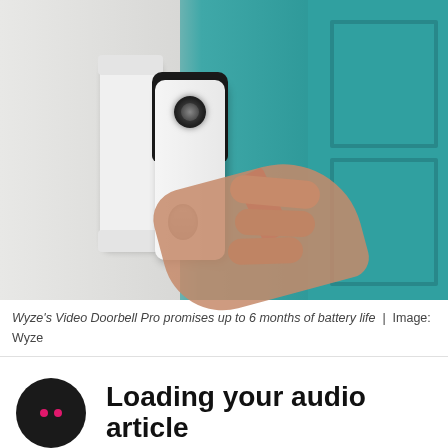[Figure (photo): A hand holding a Wyze Video Doorbell Pro device mounted on a white wall bracket next to a teal/turquoise door.]
Wyze's Video Doorbell Pro promises up to 6 months of battery life | Image: Wyze
Loading your audio article